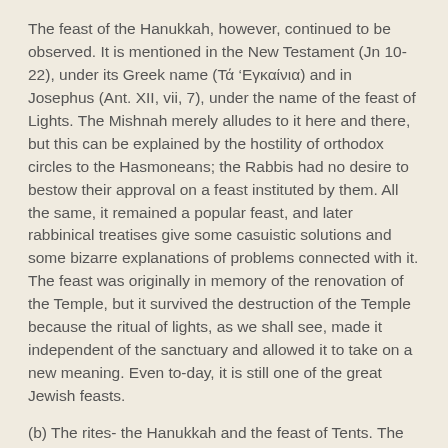The feast of the Hanukkah, however, continued to be observed. It is mentioned in the New Testament (Jn 10- 22), under its Greek name (Τά 'Εγκαίνια) and in Josephus (Ant. XII, vii, 7), under the name of the feast of Lights. The Mishnah merely alludes to it here and there, but this can be explained by the hostility of orthodox circles to the Hasmoneans; the Rabbis had no desire to bestow their approval on a feast instituted by them. All the same, it remained a popular feast, and later rabbinical treatises give some casuistic solutions and some bizarre explanations of problems connected with it. The feast was originally in memory of the renovation of the Temple, but it survived the destruction of the Temple because the ritual of lights, as we shall see, made it independent of the sanctuary and allowed it to take on a new meaning. Even to-day, it is still one of the great Jewish feasts.
(b) The rites- the Hanukkah and the feast of Tents. The celebration of the feast lasted eight days from the 25th Kisleu (December), and it was a most joyful feast (I M 4- 56-59). Apart from the sacrifices offered in the Temple, thyrsus, green branches and